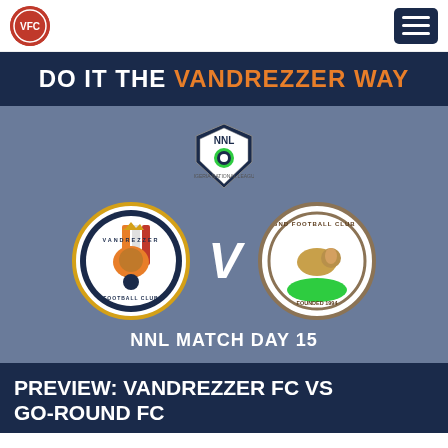Vandrezzer FC logo and navigation menu
DO IT THE VANDREZZER WAY
[Figure (infographic): NNL Match Day 15 matchup graphic showing Vandrezzer FC vs Go-Round Football Club Omoku logos with NNL badge in center]
PREVIEW: VANDREZZER FC VS GO-ROUND FC